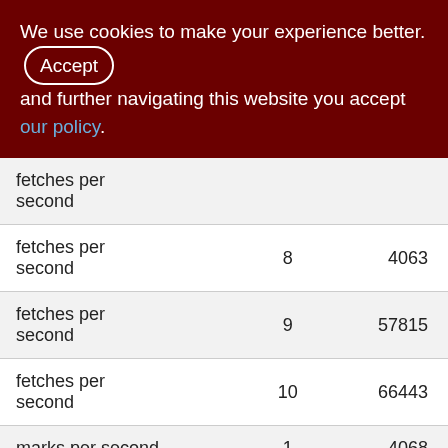We use cookies to make your experience better. By accepting and further navigating this website you accept our policy.
| fetches per second | 8 | 4063 |
| fetches per second | 9 | 57815 |
| fetches per second | 10 | 66443 |
| marks per second | 1 | 4068 |
| marks per second | 2 | 10/3 |
| marks per second | 3 | 12545 |